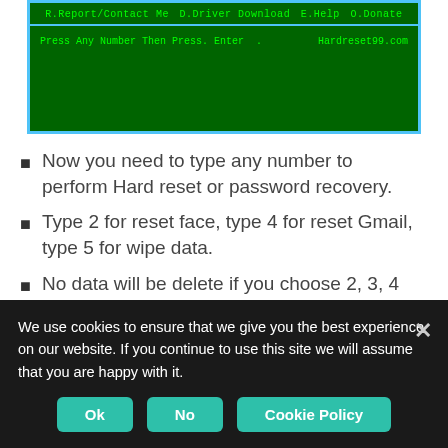[Figure (screenshot): Screenshot of a green terminal/menu interface showing menu bar with R.Report/Contact Me, D.Driver Download, E.Help, O.Donate and prompt 'Press Any Number Then Press. Enter .' with Hardreset99.com on the right]
Now you need to type any number to perform Hard reset or password recovery.
Type 2 for reset face, type 4 for reset Gmail, type 5 for wipe data.
No data will be delete if you choose 2, 3, 4 Options.
Above options clearly  explained below.
Option 2: You can reset your face or PIN lock. No data will be deleted.
Option 4: you can reset your gmail account.
We use cookies to ensure that we give you the best experience on our website. If you continue to use this site we will assume that you are happy with it.